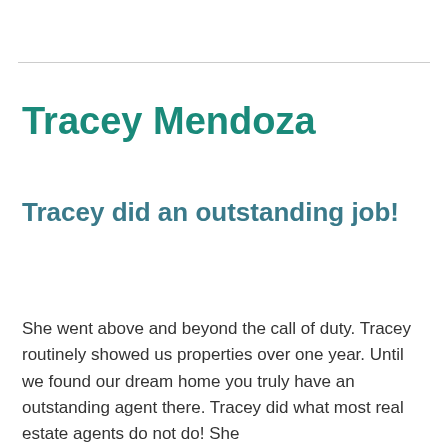Tracey Mendoza
Tracey did an outstanding job!
She went above and beyond the call of duty. Tracey routinely showed us properties over one year. Until we found our dream home you truly have an outstanding agent there. Tracey did what most real estate agents do not do! She